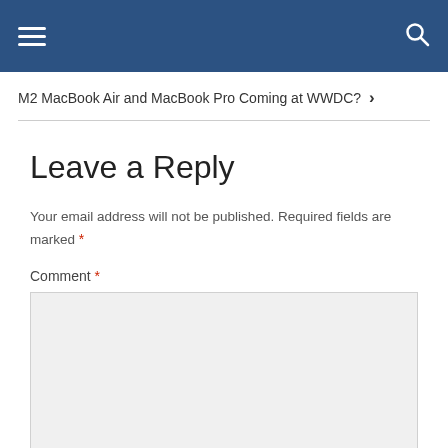M2 MacBook Air and MacBook Pro Coming at WWDC? ›
Leave a Reply
Your email address will not be published. Required fields are marked *
Comment *